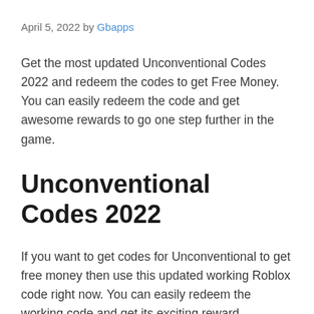April 5, 2022 by Gbapps
Get the most updated Unconventional Codes 2022 and redeem the codes to get Free Money. You can easily redeem the code and get awesome rewards to go one step further in the game.
Unconventional Codes 2022
If you want to get codes for Unconventional to get free money then use this updated working Roblox code right now. You can easily redeem the working code and get its exciting reward